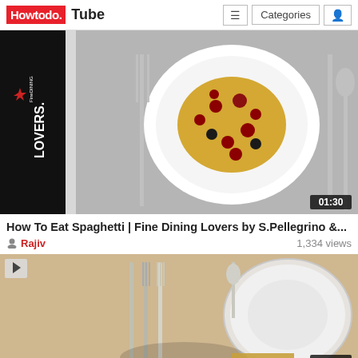Howtodo. Tube — navigation bar with Categories and menu icons
[Figure (screenshot): Video thumbnail for 'How To Eat Spaghetti | Fine Dining Lovers by S.Pellegrino' showing a plate of spaghetti with red berries and olives, with forks, knife, and spoon on gray background. Duration badge shows 01:30. Fine Dining Lovers logo overlay on left.]
How To Eat Spaghetti | Fine Dining Lovers by S.Pellegrino &...
Rajiv   1,334 views
[Figure (screenshot): Video thumbnail showing a formal table setting with forks, knife, and plates on beige tablecloth. SONORAN LIVING watermark visible. Duration badge shows 04:33. Play button icon in top-left corner.]